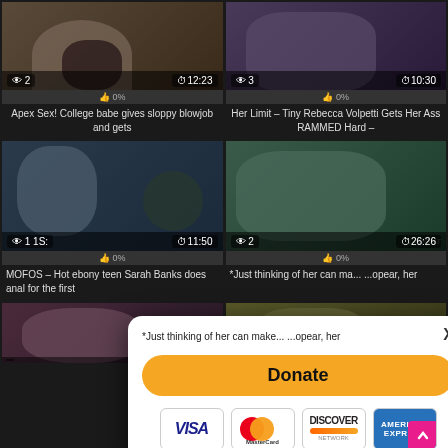[Figure (screenshot): Video thumbnail grid showing adult video website with 6 video cards, overlaid by a donation modal with Visa, MasterCard, Discover, and Amex payment icons]
Apex Sex! College babe gives sloppy blowjob and gets
Her Limit – Tiny Rebecca Volpetti Gets Her Ass RAMMED Hard –
MOFOS – Hot ebony teen Sarah Banks does anal for the first
*Just thinking of her can make ... appear, her
Donate
X